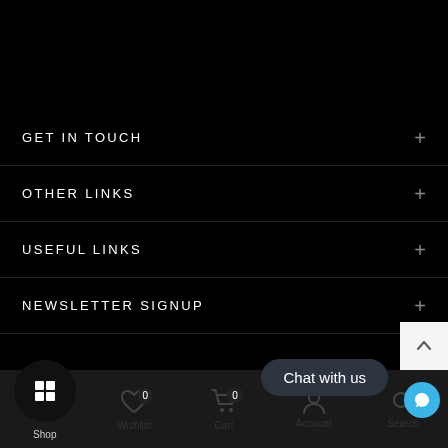GET IN TOUCH
OTHER LINKS
USEFUL LINKS
NEWSLETTER SIGNUP
Shop  Wishlist  Cart  Account  Search